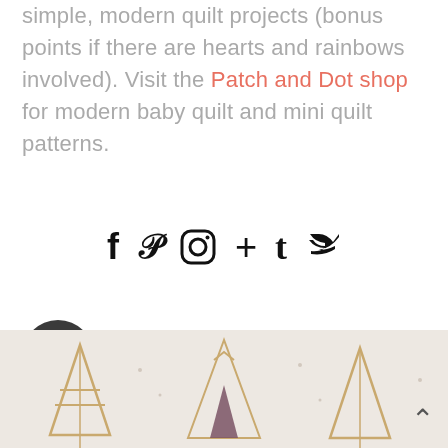simple, modern quilt projects (bonus points if there are hearts and rainbows involved). Visit the Patch and Dot shop for modern baby quilt and mini quilt patterns.
[Figure (infographic): Row of social media icons: Facebook (f), Pinterest (p), Instagram (circle camera), Google+ (+), Tumblr (t), RSS feed icon]
[Figure (logo): Dark circle with Instagram camera icon, followed by username 'patchanddot']
[Figure (photo): Bottom strip showing partial photo of quilt projects with teepee/tent shapes in geometric patterns, gold and purple tones on light background. Back-to-top arrow in lower right.]